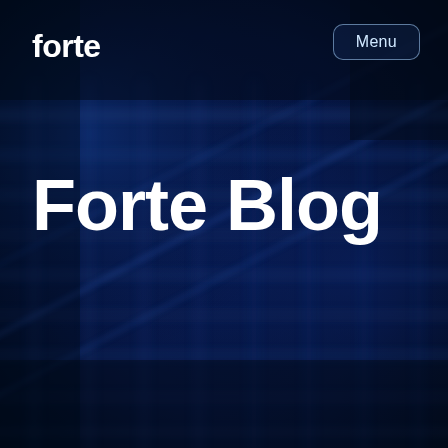[Figure (illustration): Dark navy blue background with a blurred image of what appears to be a guitar fretboard or metal grid structure with diagonal lines, creating a bokeh-like technical/industrial texture in deep blue tones.]
forte
Menu
Forte Blog